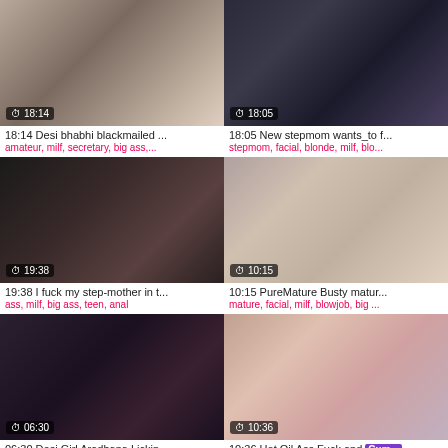[Figure (screenshot): Video thumbnail 18:14 Desi bhabhi blackmailed]
18:14 Desi bhabhi blackmailed ...
amateur, milf, secretary, big ass,...
[Figure (screenshot): Video thumbnail 18:05 New stepmom wants_to f...]
18:05 New stepmom wants_to f...
stepmom, facial, blonde, milf, blo...
[Figure (screenshot): Video thumbnail 19:38 I fuck my step-mother in t...]
19:38 I fuck my step-mother in t...
ass, milf, big ass, teen, anal
[Figure (screenshot): Video thumbnail 10:15 PureMature Busty matur...]
10:15 PureMature Busty matur...
mature, facial, milf, blowjob, big ...
[Figure (screenshot): Video thumbnail 06:30 Desi Girl Aradhana Lickin...]
06:30 Desi Girl Aradhana Lickin...
milf, handjob, homemade, big as...
[Figure (screenshot): Video thumbnail 10:36 Hot Oil Ass Fuck and Cum...]
10:36 Hot Oil Ass Fuck and Cum...
cumshot, ass, milf, russian, ama...